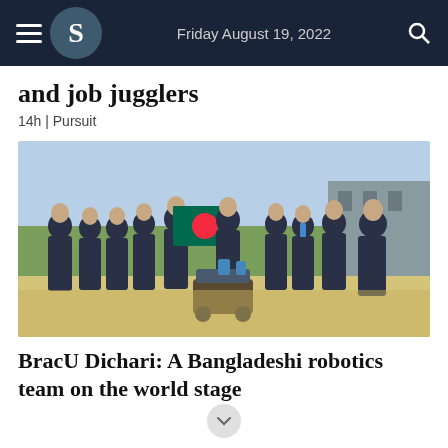Friday August 19, 2022
and job jugglers
14h | Pursuit
[Figure (photo): A group of approximately 11 people in matching dark polo shirts standing outdoors on sandy/grassy ground, holding a Bangladesh flag (green with red circle) and a rover/robot in front of them. There is a building structure in the background.]
BracU Dichari: A Bangladeshi robotics team on the world stage